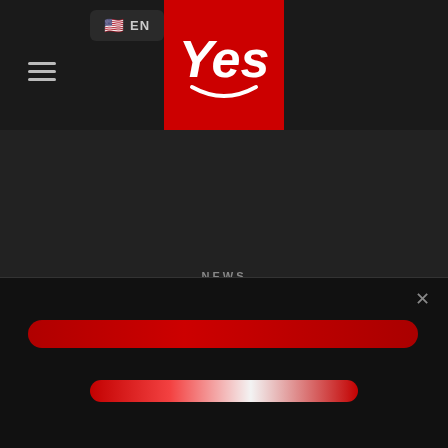[Figure (logo): Yes brand logo — white 'Yes' text with smile arc on red background square]
EN
[Figure (other): Hamburger menu icon (three horizontal lines)]
NEWS
Investing in nutrition increases
[Figure (other): Popup overlay with a red pill-shaped bar and a smaller white/red pill-shaped bar, and a close X button]